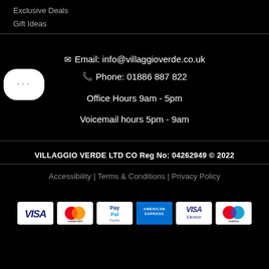Exclusive Deals
Gift Ideas
Email: info@villaggioverde.co.uk
Phone: 01886 887 822
Office Hours 9am - 5pm
Voicemail hours 5pm - 9am
VILLAGGIO VERDE LTD CO Reg No: 04262949 © 2022
Accessibility | Terms & Conditions | Privacy Policy
[Figure (other): Payment method icons: VISA, Mastercard, PayPal, American Express, VISA Electron, Maestro]